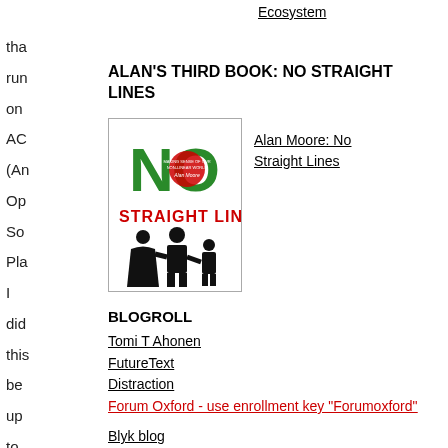Ecosystem
tha
run
on
AC
(An
Op
So
Pla
I
did
this
be
up
to
too
it
wa
ALAN'S THIRD BOOK: NO STRAIGHT LINES
[Figure (photo): Book cover of 'No Straight Lines' by Alan Moore, showing the text 'NO STRAIGHT LINES' in green and red with black silhouettes of a family (woman, man, child)]
Alan Moore: No Straight Lines
BLOGROLL
Tomi T Ahonen
FutureText
Distraction
Forum Oxford - use enrollment key "Forumoxford"
Blyk blog
Smart Mobs